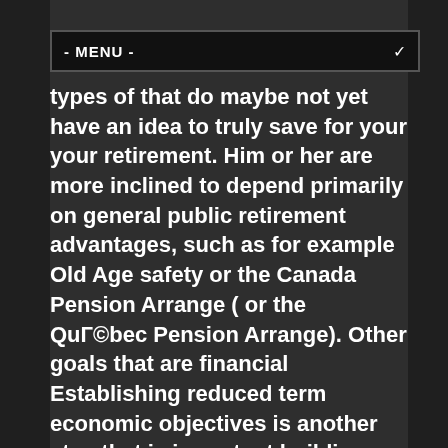- MENU -
types of that do maybe not yet have an idea to truly save for your your retirement. Him or her are more inclined to depend primarily on general public retirement advantages, such as for example Old Age safety or the Canada Pension Arrange ( or the QuΓ©bec Pension Arrange). Other goals that are financial Establishing reduced term economic objectives is another step that is important building a highly effective economic plan and handling cash well. Interestingly, about two thirds of Canadians (66%) are organizing some sort of major purchase or spending over the following 36 months, such as for instance